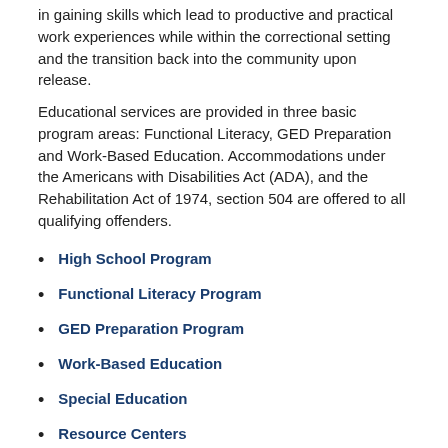in gaining skills which lead to productive and practical work experiences while within the correctional setting and the transition back into the community upon release.
Educational services are provided in three basic program areas: Functional Literacy, GED Preparation and Work-Based Education. Accommodations under the Americans with Disabilities Act (ADA), and the Rehabilitation Act of 1974, section 504 are offered to all qualifying offenders.
High School Program
Functional Literacy Program
GED Preparation Program
Work-Based Education
Special Education
Resource Centers
Safe Return to In-Person Instruction and Continuity of Services Plan